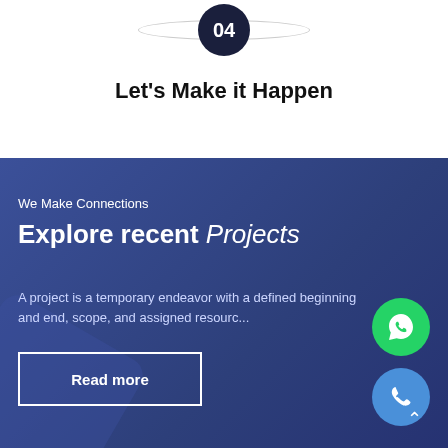[Figure (infographic): Step 04 circle badge with ellipse ring behind it]
Let's Make it Happen
We Make Connections
Explore recent Projects
A project is a temporary endeavor with a defined beginning and end, scope, and assigned resources.
Read more